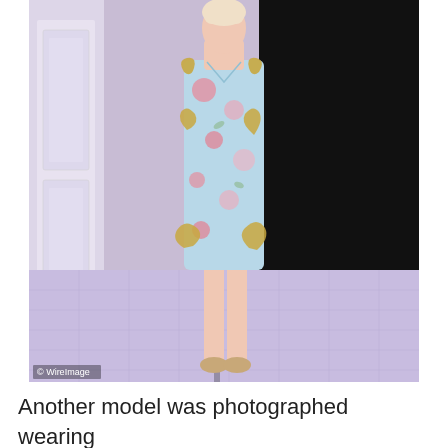[Figure (photo): A model walking on a fashion runway wearing a light blue floral dress with gold swirl embellishments on the shoulders, bodice, and hem. The background shows a decorative white panelled wall on the left and black backdrop on the right. The runway floor is a lavender/grey grid pattern. A WireImage watermark appears in the bottom-left corner of the photo.]
Another model was photographed wearing